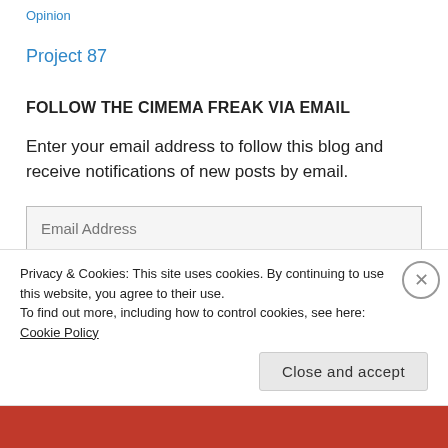Opinion
Project 87
FOLLOW THE CIMEMA FREAK VIA EMAIL
Enter your email address to follow this blog and receive notifications of new posts by email.
Email Address
FOLLOW
Privacy & Cookies: This site uses cookies. By continuing to use this website, you agree to their use.
To find out more, including how to control cookies, see here: Cookie Policy
Close and accept